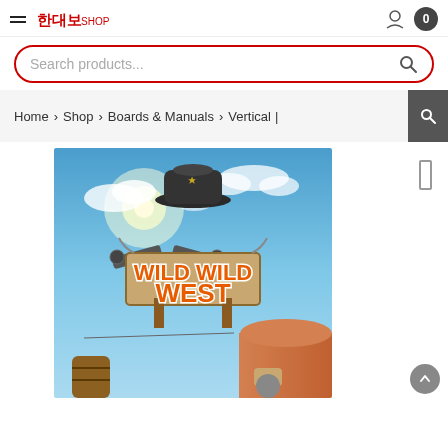— [logo] Boards & More Shop | Search products... [search icon] | [user icon] [cart icon 0]
Home > Shop > Boards & Manuals > Vertical |
[Figure (photo): Wild Wild West board game product image showing a colorful western-themed illustration with cowboys, revolvers, a sheriff's hat, and the title 'Wild Wild West' in large orange letters against a blue sky background.]